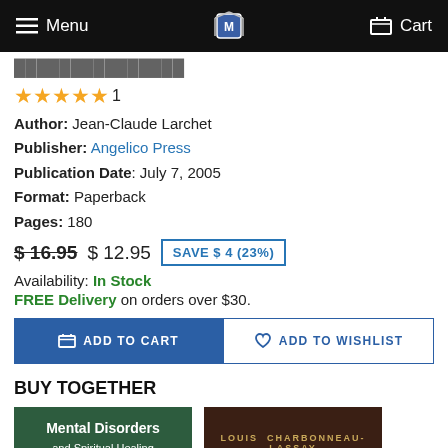Menu  [logo]  Cart
[partial title cut off]
★★★★★ 1
Author: Jean-Claude Larchet
Publisher: Angelico Press
Publication Date: July 7, 2005
Format: Paperback
Pages: 180
$16.95  $ 12.95  SAVE $ 4 (23%)
Availability: In Stock
FREE Delivery on orders over $30.
ADD TO CART  ADD TO WISHLIST
BUY TOGETHER
[Figure (photo): Book cover: Mental Disorders (green cover) and Louis Charbonneau-Lassay (dark brown cover)]